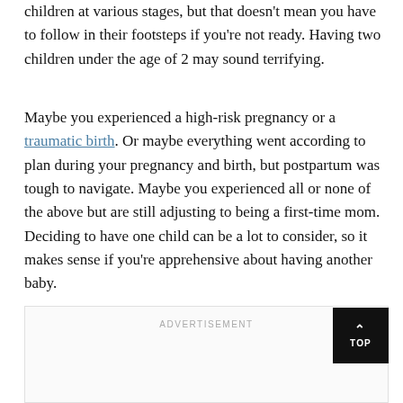children at various stages, but that doesn't mean you have to follow in their footsteps if you're not ready. Having two children under the age of 2 may sound terrifying.
Maybe you experienced a high-risk pregnancy or a traumatic birth. Or maybe everything went according to plan during your pregnancy and birth, but postpartum was tough to navigate. Maybe you experienced all or none of the above but are still adjusting to being a first-time mom. Deciding to have one child can be a lot to consider, so it makes sense if you're apprehensive about having another baby.
[Figure (other): Advertisement placeholder box with ADVERTISEMENT label and TOP scroll button]